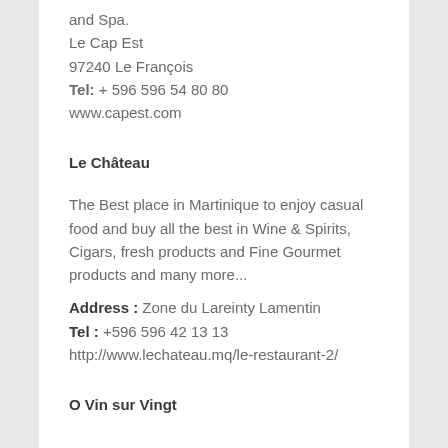and Spa.
Le Cap Est
97240 Le François
Tel: + 596 596 54 80 80
www.capest.com
Le Château
The Best place in Martinique to enjoy casual food and buy all the best in Wine & Spirits, Cigars, fresh products and Fine Gourmet products and many more...
Address : Zone du Lareinty Lamentin
Tel : +596 596 42 13 13
http://www.lechateau.mq/le-restaurant-2/
O Vin sur Vingt